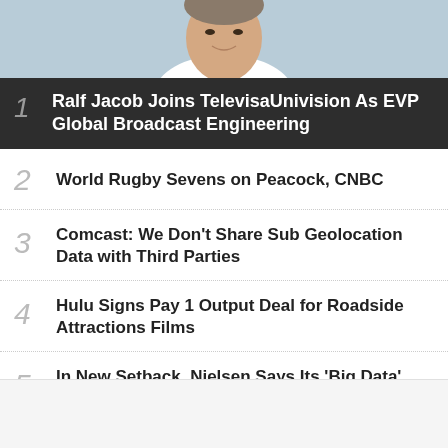[Figure (photo): Photo of a smiling man, partially visible from shoulders up with light background]
1 Ralf Jacob Joins TelevisaUnivision As EVP Global Broadcast Engineering
2 World Rugby Sevens on Peacock, CNBC
3 Comcast: We Don't Share Sub Geolocation Data with Third Parties
4 Hulu Signs Pay 1 Output Deal for Roadside Attractions Films
5 In New Setback, Nielsen Says Its 'Big Data' Isn't Ready for Transacting